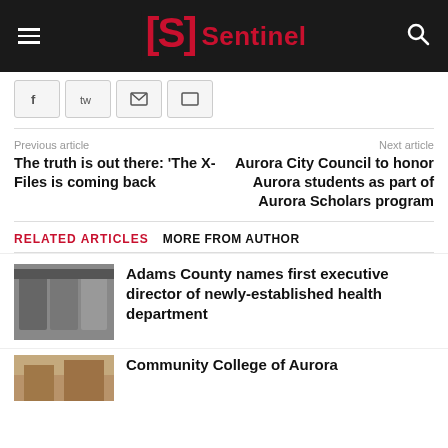Sentinel
Previous article: The truth is out there: 'The X-Files is coming back
Next article: Aurora City Council to honor Aurora students as part of Aurora Scholars program
RELATED ARTICLES   MORE FROM AUTHOR
Adams County names first executive director of newly-established health department
Community College of Aurora